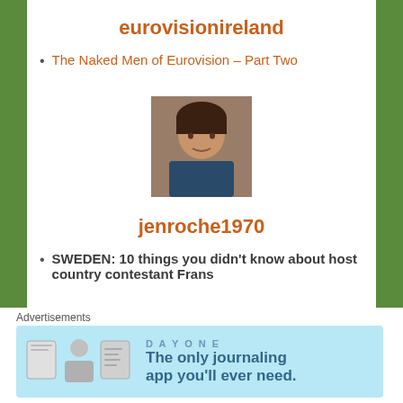eurovisionireland
The Naked Men of Eurovision – Part Two
[Figure (photo): Profile photo of user jenroche1970 — woman with dark hair]
jenroche1970
SWEDEN: 10 things you didn't know about host country contestant Frans
[Figure (photo): Profile image for iis1990 — blue background with European flags arranged in a grid]
iis1990
Advertisements
[Figure (infographic): DAY ONE journaling app advertisement: 'The only journaling app you'll ever need.' with icons of a book, person, and document on light blue background]